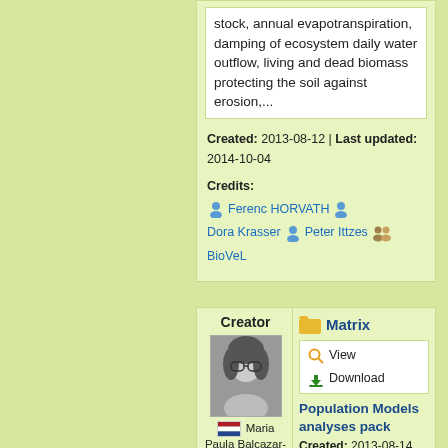stock, annual evapotranspiration, damping of ecosystem daily water outflow, living and dead biomass protecting the soil against erosion,...
Created: 2013-08-12 | Last updated: 2014-10-04
Credits: Ferenc HORVATH  Dora Krasser  Peter Ittzes  BioVeL
Creator
[Figure (photo): Black and white photo of Maria Paula Balcazar-Vargas, a woman with curly hair and glasses]
Maria Paula Balcazar-Vargas
Matrix
View
Download
Population Models analyses pack
Created: 2013-08-14